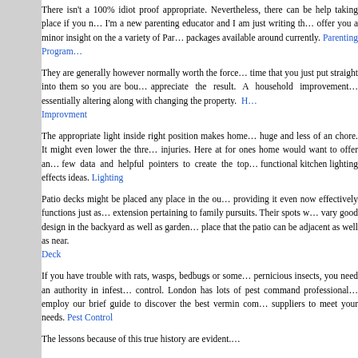There isn't a 100% idiot proof appropriate. Nevertheless, there can be help taking place if you n... I'm a new parenting educator and I am just writing th... offer you a minor insight on the a variety of Pare... packages available around currently. Parenting Program...
They are generally however normally worth the force... time that you just put straight into them so you are bou... appreciate the result. A household improvement... essentially altering along with changing the property. H... Improvment
The appropriate light inside right position makes home... huge and less of an chore. It might even lower the thre... injuries. Here at for ones home would want to offer an... few data and helpful pointers to create the top... functional kitchen lighting effects ideas. Lighting
Patio decks might be placed any place in the ou... providing it even now effectively functions just as... extension pertaining to family pursuits. Their spots w... vary good design in the backyard as well as garden... place that the patio can be adjacent as well as near. Deck
If you have trouble with rats, wasps, bedbugs or some... pernicious insects, you need an authority in infest... control. London has lots of pest command professional... employ our brief guide to discover the best vermin com... suppliers to meet your needs. Pest Control
The lessons because of this true history are evident....